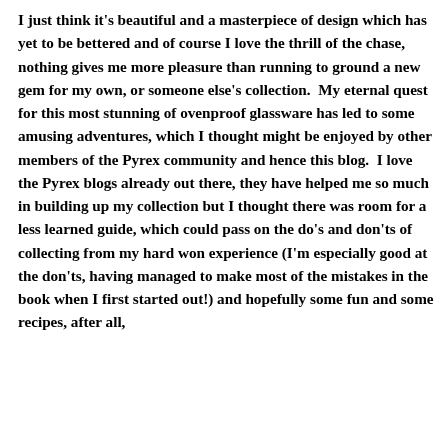I just think it's beautiful and a masterpiece of design which has yet to be bettered and of course I love the thrill of the chase, nothing gives me more pleasure than running to ground a new gem for my own, or someone else's collection.  My eternal quest for this most stunning of ovenproof glassware has led to some amusing adventures, which I thought might be enjoyed by other members of the Pyrex community and hence this blog.  I love the Pyrex blogs already out there, they have helped me so much in building up my collection but I thought there was room for a less learned guide, which could pass on the do's and don'ts of collecting from my hard won experience (I'm especially good at the don'ts, having managed to make most of the mistakes in the book when I first started out!) and hopefully some fun and some recipes, after all,